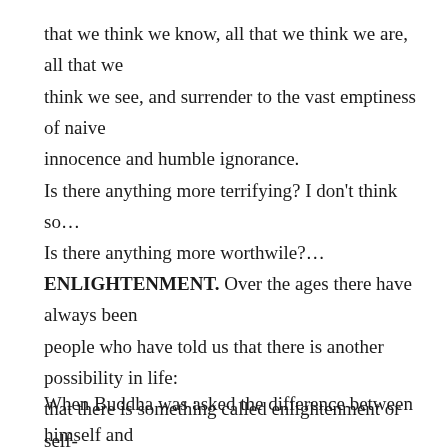that we think we know, all that we think we are, all that we think we see, and surrender to the vast emptiness of naive innocence and humble ignorance.
Is there anything more terrifying? I don't think so…
Is there anything more worthwile?…
ENLIGHTENMENT. Over the ages there have always been people who have told us that there is another possibility in life: that there is something called enlightenment or self-realisation; that it the true experience of absolute reality.
When Buddha was asked the difference between himself and an ordinary person, he stated: